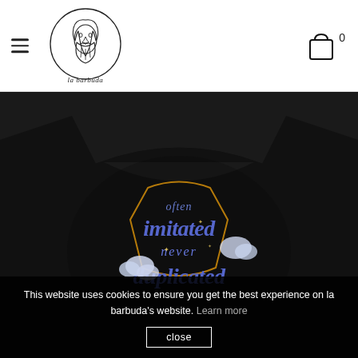[Figure (logo): La Barbuda logo: line drawing of a bearded man inside a circle with cursive 'la barbuda' text]
[Figure (illustration): Shopping bag icon with cart count of 0]
[Figure (photo): Black t-shirt with blue graffiti-style lettering reading 'often imitated never duplicated' with cloud and star decorations on a dark background]
This website uses cookies to ensure you get the best experience on la barbuda's website. Learn more
close